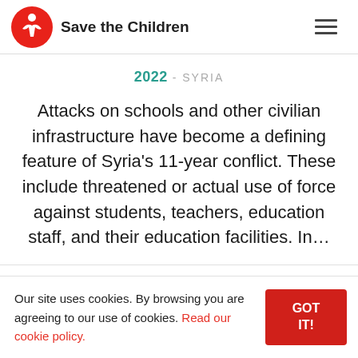Save the Children
2022 - SYRIA
Attacks on schools and other civilian infrastructure have become a defining feature of Syria's 11-year conflict. These include threatened or actual use of force against students, teachers, education staff, and their education facilities. In…
Our site uses cookies. By browsing you are agreeing to our use of cookies. Read our cookie policy.